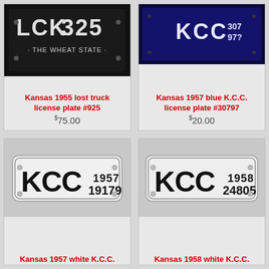[Figure (photo): Kansas 1955 lost truck license plate, dark/black plate with light text, THE WHEAT STATE, partial view showing LCK and 325]
Kansas 1955 lost truck license plate #925
$75.00
[Figure (photo): Kansas 1957 blue K.C.C. license plate #30797, dark blue plate with white/light text showing KCC 30797]
Kansas 1957 blue K.C.C. license plate #30797
$20.00
[Figure (photo): Kansas 1957 white K.C.C. license plate #19179, white plate with black text KCC 1957 19179]
Kansas 1957 white K.C.C.
[Figure (photo): Kansas 1958 white K.C.C. license plate #24805, white plate with black text KCC 1958 24805]
Kansas 1958 white K.C.C.